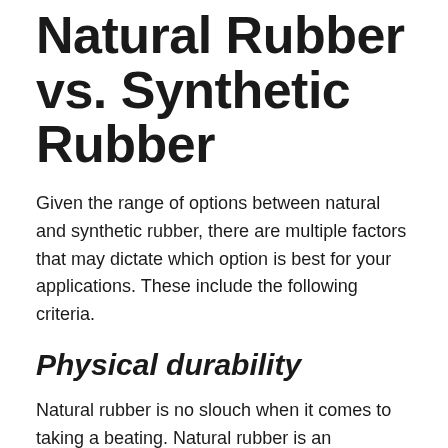Natural Rubber vs. Synthetic Rubber
Given the range of options between natural and synthetic rubber, there are multiple factors that may dictate which option is best for your applications. These include the following criteria.
Physical durability
Natural rubber is no slouch when it comes to taking a beating. Natural rubber is an incredibly tough material that’s a great fit for any physically demanding applications such as loading dock bumpers and shock mounts. Natural rubber